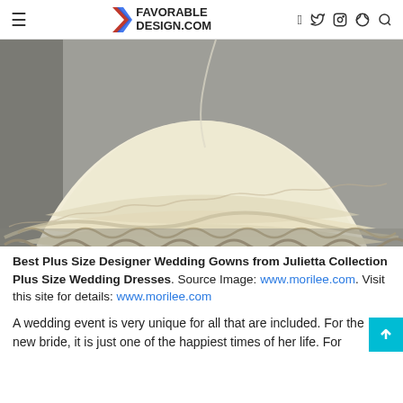FAVORABLE DESIGN.COM
[Figure (photo): Close-up of a white lace wedding gown with an ornate beaded lace hem and full ball gown skirt, photographed against a grey background.]
Best Plus Size Designer Wedding Gowns from Julietta Collection Plus Size Wedding Dresses. Source Image: www.morilee.com. Visit this site for details: www.morilee.com
A wedding event is very unique for all that are included. For the new bride, it is just one of the happiest times of her life. For